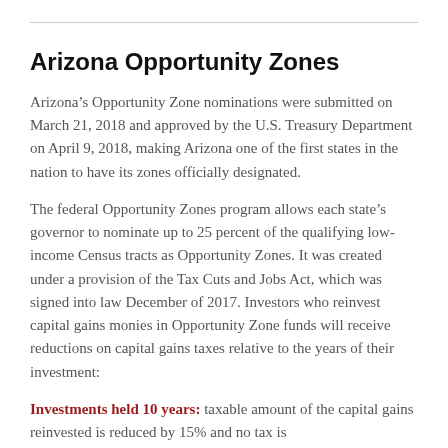Arizona Opportunity Zones
Arizona’s Opportunity Zone nominations were submitted on March 21, 2018 and approved by the U.S. Treasury Department on April 9, 2018, making Arizona one of the first states in the nation to have its zones officially designated.
The federal Opportunity Zones program allows each state’s governor to nominate up to 25 percent of the qualifying low-income Census tracts as Opportunity Zones. It was created under a provision of the Tax Cuts and Jobs Act, which was signed into law December of 2017. Investors who reinvest capital gains monies in Opportunity Zone funds will receive reductions on capital gains taxes relative to the years of their investment:
Investments held 10 years: taxable amount of the capital gains reinvested is reduced by 15% and no tax is